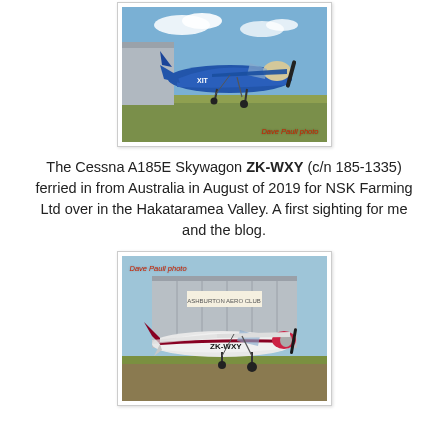[Figure (photo): Blue Cessna aircraft parked on grass near a hangar, side view. Photo credit: Dave Paull photo (bottom right).]
The Cessna A185E Skywagon ZK-WXY (c/n 185-1335) ferried in from Australia in August of 2019 for NSK Farming Ltd over in the Hakataramea Valley. A first sighting for me and the blog.
[Figure (photo): White and maroon Cessna A185E Skywagon ZK-WXY parked on grass in front of a hangar, three-quarter front view. Photo credit: Dave Paull photo (top left).]